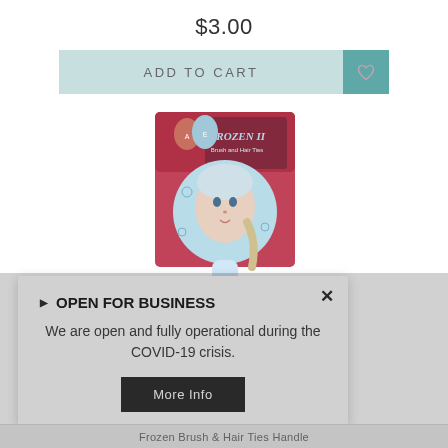$3.00
ADD TO CART
[Figure (photo): Disney Frozen II brush and hair ties handle product in packaging, showing Elsa character on a round brush head with colorful hair ties, packaged on a card with Anna and Elsa on the top.]
▶ OPEN FOR BUSINESS
We are open and fully operational during the COVID-19 crisis.
More Info
Frozen Brush & Hair Ties Handle